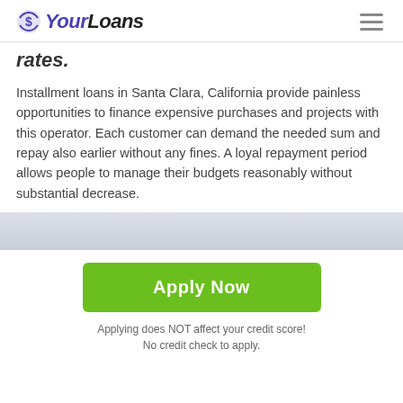YourLoans
rates.
Installment loans in Santa Clara, California provide painless opportunities to finance expensive purchases and projects with this operator. Each customer can demand the needed sum and repay also earlier without any fines. A loyal repayment period allows people to manage their budgets reasonably without substantial decrease.
[Figure (photo): Partial image strip showing a light grey/blue background photo]
Apply Now
Applying does NOT affect your credit score! No credit check to apply.